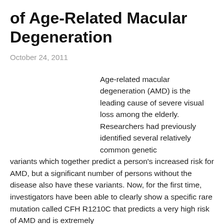of Age-Related Macular Degeneration
October 24, 2011
Age-related macular degeneration (AMD) is the leading cause of severe visual loss among the elderly. Researchers had previously identified several relatively common genetic variants which together predict a person's increased risk for AMD, but a significant number of persons without the disease also have these variants. Now, for the first time, investigators have been able to clearly show a specific rare mutation called CFH R1210C that predicts a very high risk of AMD and is extremely